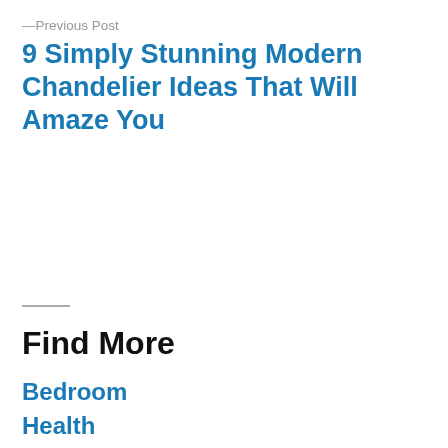—Previous Post
9 Simply Stunning Modern Chandelier Ideas That Will Amaze You
Find More
Bedroom
Health
Home & Garden